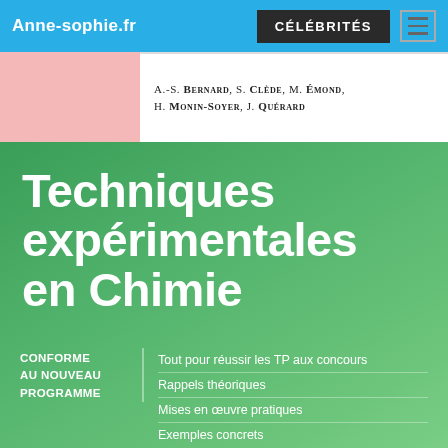Anne-sophie.fr   CÉLÉBRITÉS
A.-S. Bernard, S. Clède, M. Émond, H. Monin-Soyer, J. Quérard
Techniques expérimentales en Chimie
CONFORME AU NOUVEAU PROGRAMME
Tout pour réussir les TP aux concours
Rappels théoriques
Mises en œuvre pratiques
Exemples concrets